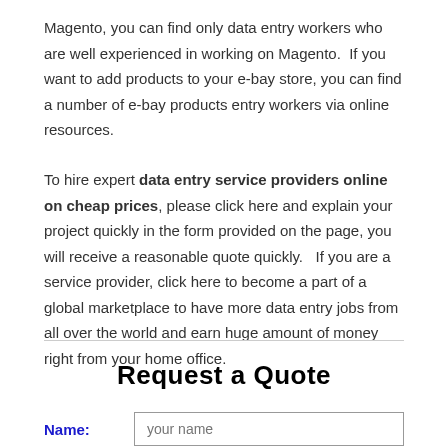Magento, you can find only data entry workers who are well experienced in working on Magento. If you want to add products to your e-bay store, you can find a number of e-bay products entry workers via online resources.
To hire expert data entry service providers online on cheap prices, please click here and explain your project quickly in the form provided on the page, you will receive a reasonable quote quickly. If you are a service provider, click here to become a part of a global marketplace to have more data entry jobs from all over the world and earn huge amount of money right from your home office.
Request a Quote
Name: [your name]